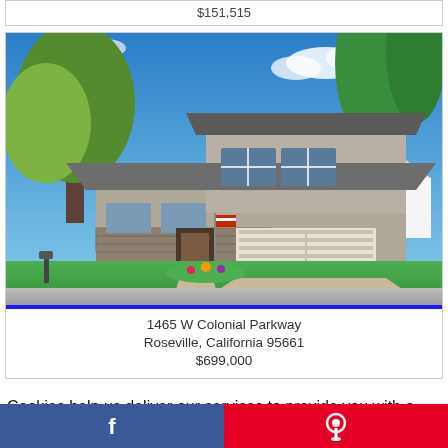$151,515
[Figure (photo): Exterior photo of a two-story suburban home with a garage, green lawn, large trees, and blue sky. American flag visible near the front door.]
1465 W Colonial Parkway
Roseville, California 95661
$699,000
Cookies help us deliver our services to provide you with a more enjoyable visit. By using our services, including by scrolling or going to other pages, we will assume you are happy with it and that you agree